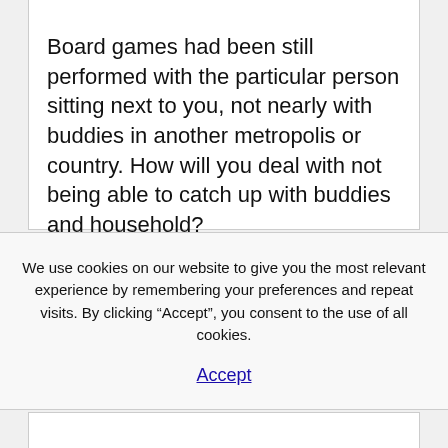Board games had been still performed with the particular person sitting next to you, not nearly with buddies in another metropolis or country. How will you deal with not being able to catch up with buddies and household?
We use cookies on our website to give you the most relevant experience by remembering your preferences and repeat visits. By clicking “Accept”, you consent to the use of all cookies.
Accept
Some text begins here that the next block...